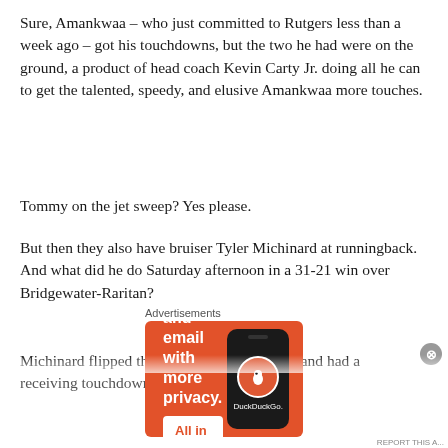Sure, Amankwaa – who just committed to Rutgers less than a week ago – got his touchdowns, but the two he had were on the ground, a product of head coach Kevin Carty Jr. doing all he can to get the talented, speedy, and elusive Amankwaa more touches.
Tommy on the jet sweep? Yes please.
But then they also have bruiser Tyler Michinard at runningback. And what did he do Saturday afternoon in a 31-21 win over Bridgewater-Raritan?
Michinard flipped the other half of the script and had a receiving touchdown, and a nifty one at that.
[Figure (other): DuckDuckGo advertisement banner with orange background. Text reads 'Search, browse, and email with more privacy. All in One Free App' with a phone graphic showing the DuckDuckGo logo.]